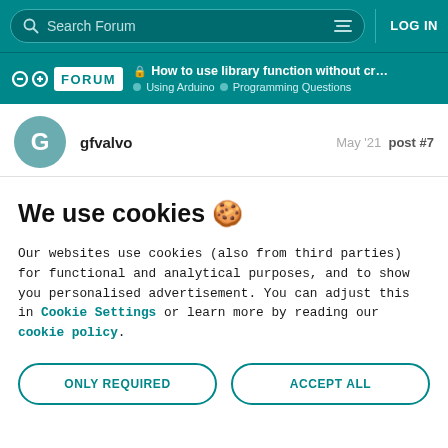Search Forum   LOG IN
Arduino Forum — How to use library function without creat... > Using Arduino > Programming Questions
gfvalvo   May '21   post #7
We use cookies 🍪
Our websites use cookies (also from third parties) for functional and analytical purposes, and to show you personalised advertisement. You can adjust this in Cookie Settings or learn more by reading our cookie policy.
ONLY REQUIRED   ACCEPT ALL